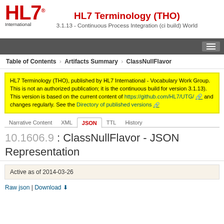HL7 Terminology (THO) - 3.1.13 - Continuous Process Integration (ci build) World
Table of Contents > Artifacts Summary > ClassNullFlavor
HL7 Terminology (THO), published by HL7 International - Vocabulary Work Group. This is not an authorized publication; it is the continuous build for version 3.1.13). This version is based on the current content of https://github.com/HL7/UTG/ and changes regularly. See the Directory of published versions
10.1606.9 : ClassNullFlavor - JSON Representation
Active as of 2014-03-26
Raw json | Download